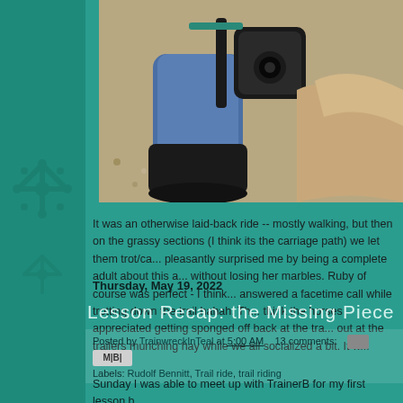[Figure (photo): Close-up photo of a person's leg in jeans with a boot/stirrup, horse fur visible, gravel ground background]
It was an otherwise laid-back ride -- mostly walking, but then on the grassy sections (I think its the carriage path) we let them trot/ca... pleasantly surprised me by being a complete adult about this a... without losing her marbles. Ruby of course was perfect - I think... answered a facetime call while trotting down the trail hahah. Th... think the horses appreciated getting sponged off back at the tra... out at the trailers munching hay while we all socialized a bit. It w...
Posted by TrainwreckInTeal at 5:00 AM   13 comments:
Labels: Rudolf Bennitt, Trail ride, trail riding
Thursday, May 19, 2022
Lesson Recap: the Missing Piece
Sunday I was able to meet up with TrainerB for my first lesson b...